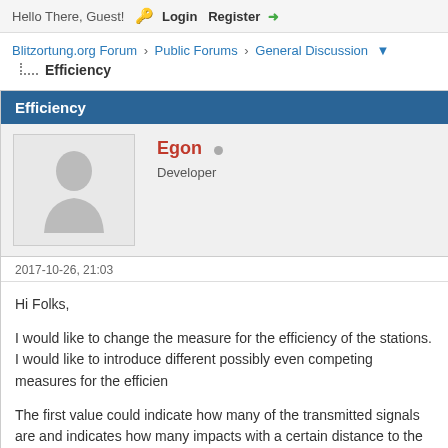Hello There, Guest! Login Register
Blitzortung.org Forum › Public Forums › General Discussion
Efficiency
Efficiency
Egon • Developer
2017-10-26, 21:03
Hi Folks,

I would like to change the measure for the efficiency of the stations. I would like to introduce different possibly even competing measures for the efficiency of stations.

The first value could indicate how many of the transmitted signals are used and indicates how many impacts with a certain distance to the own d...

The next combination of the number of the data...